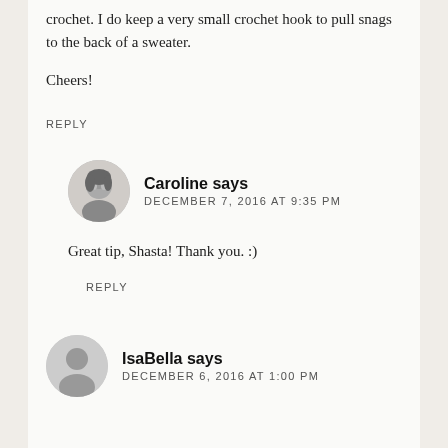crochet. I do keep a very small crochet hook to pull snags to the back of a sweater.
Cheers!
REPLY
Caroline says
DECEMBER 7, 2016 AT 9:35 PM
Great tip, Shasta! Thank you. :)
REPLY
IsaBella says
DECEMBER 6, 2016 AT 1:00 PM